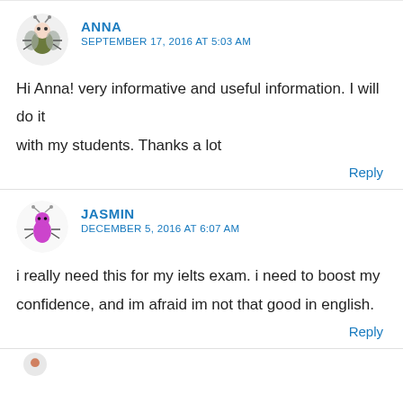[Figure (illustration): Round avatar with cartoon bug illustration for user Anna]
ANNA
SEPTEMBER 17, 2016 AT 5:03 AM
Hi Anna! very informative and useful information. I will do it with my students. Thanks a lot
Reply
[Figure (illustration): Round avatar with cartoon bug illustration for user Jasmin]
JASMIN
DECEMBER 5, 2016 AT 6:07 AM
i really need this for my ielts exam. i need to boost my confidence, and im afraid im not that good in english.
Reply
[Figure (illustration): Partial round avatar at bottom edge]